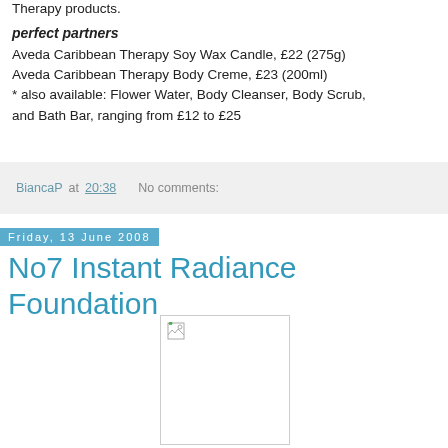Therapy products.
perfect partners
Aveda Caribbean Therapy Soy Wax Candle, £22 (275g)
Aveda Caribbean Therapy Body Creme, £23 (200ml)
* also available: Flower Water, Body Cleanser, Body Scrub, and Bath Bar, ranging from £12 to £25
BiancaP at 20:38    No comments:
Friday, 13 June 2008
No7 Instant Radiance Foundation
[Figure (photo): Placeholder image with broken image icon]